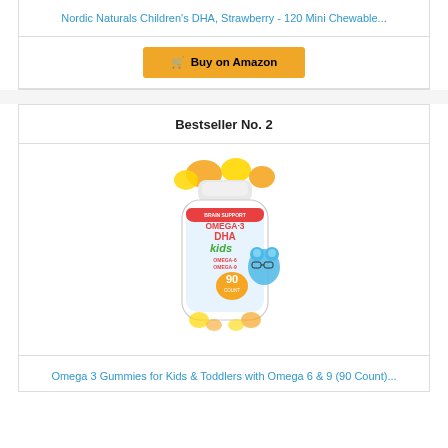Nordic Naturals Children's DHA, Strawberry - 120 Mini Chewable...
Buy on Amazon
Bestseller No. 2
[Figure (photo): Product photo of a bottle labeled Brain Support Omega-3 DHA Kids Omega-6 Omega-9, 90 count gummies in orange and yellow colors with a bear mascot wearing glasses]
Omega 3 Gummies for Kids & Toddlers with Omega 6 & 9 (90 Count)...